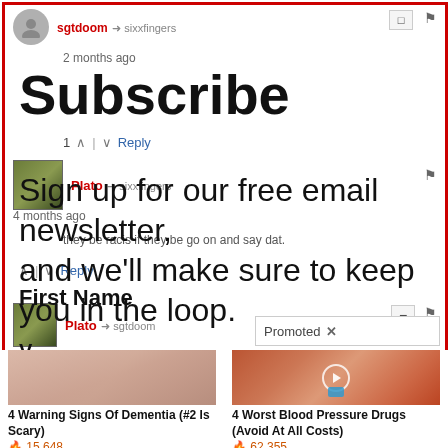[Figure (screenshot): Comment section screenshot with red border. Shows sgtdoom username pointing to sixxfingers, with '2 months ago' timestamp. Large 'Subscribe' text overlaid. Second comment from Plato pointing to sixxfingers with text about keeping up to date. Reply rows with voting controls. Third entry shows Plato pointing to sgtdoom. A 'Promoted X' popup. Below are two sponsored content items: '4 Warning Signs Of Dementia (#2 Is Scary)' with 15,648 and '4 Worst Blood Pressure Drugs (Avoid At All Costs)' with 62,355.]